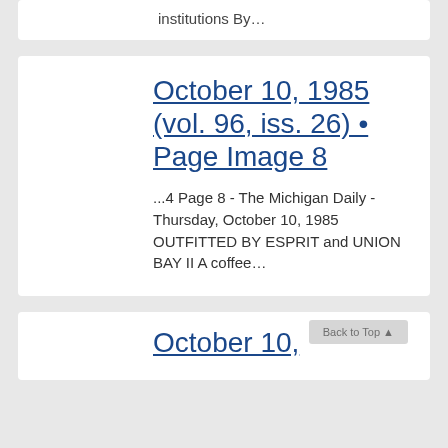institutions By…
October 10, 1985 (vol. 96, iss. 26) • Page Image 8
...4 Page 8 - The Michigan Daily - Thursday, October 10, 1985 OUTFITTED BY ESPRIT and UNION BAY II A coffee…
October 10,